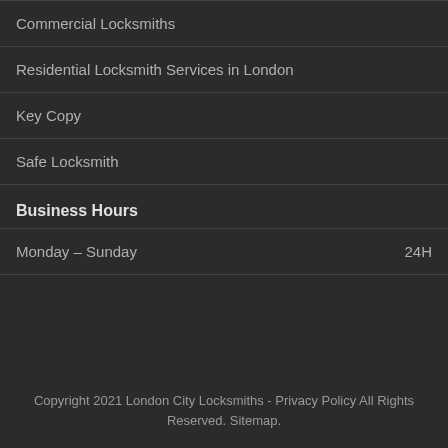Commercial Locksmiths
Residential Locksmith Services in London
Key Copy
Safe Locksmith
Business Hours
| Day | Hours |
| --- | --- |
| Monday – Sunday | 24H |
Copyright 2021 London City Locksmiths - Privacy Policy All Rights Reserved. Sitemap.